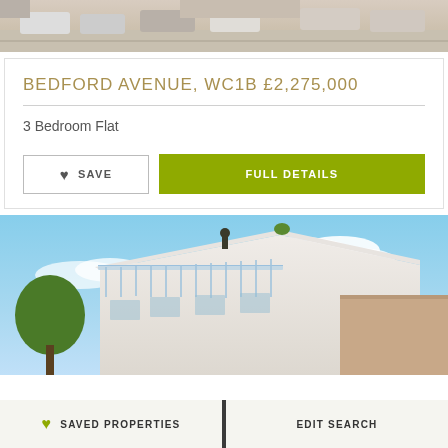[Figure (photo): Street-level photo of Bedford Avenue showing parked cars and road]
BEDFORD AVENUE, WC1B £2,275,000
3 Bedroom Flat
SAVE
FULL DETAILS
[Figure (photo): Modern building exterior with glass balcony railing and blue sky]
SAVED PROPERTIES
EDIT SEARCH